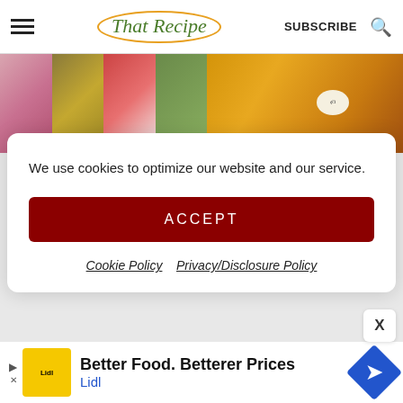That Recipe - SUBSCRIBE
[Figure (photo): Food blog header image strip showing multiple food photos: a pink drink, a chocolate spread with star-shaped crackers, strawberry bruschetta, and a green vegetable; on the right a large jar of golden amber jam/jelly]
We use cookies to optimize our website and our service.
ACCEPT
Cookie Policy  Privacy/Disclosure Policy
[Figure (other): X close button]
[Figure (other): Lidl advertisement banner: Better Food. Betterer Prices - Lidl]